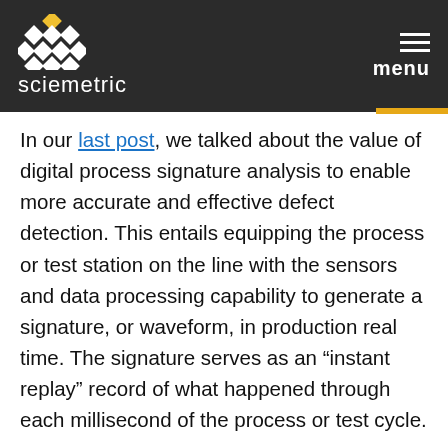sciemetric | menu
In our last post, we talked about the value of digital process signature analysis to enable more accurate and effective defect detection. This entails equipping the process or test station on the line with the sensors and data processing capability to generate a signature, or waveform, in production real time. The signature serves as an “instant replay” record of what happened through each millisecond of the process or test cycle.
Now, for that process signature to have any analytical value–so the operator can tell whether the cycle has completed within acceptable limits with a quick glance at a screen–we must first establish those limits.